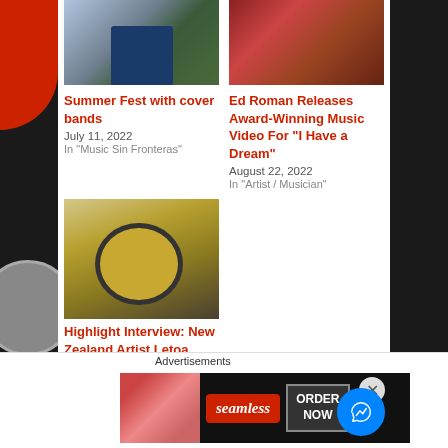[Figure (photo): Outdoor music event photo showing a person in blue seated at a table]
[Figure (photo): Close-up of red and pink fabric or flowers]
Summer Fest with cover bands
July 11, 2022
In "Music Sin Fronteras"
Ed Roman Releases Award-Winning Music Video For “I Have a Dream”
August 22, 2022
In "Artist / Musician"
[Figure (photo): Studio microphone with yellow pop filter on stand]
Highlight Interview: New Zealand Artist Letoa
July 26, 2022
Advertisements
[Figure (photo): Seamless food delivery advertisement banner with pizza image and ORDER NOW button]